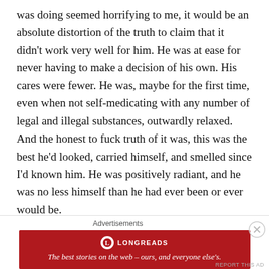was doing seemed horrifying to me, it would be an absolute distortion of the truth to claim that it didn't work very well for him. He was at ease for never having to make a decision of his own. His cares were fewer. He was, maybe for the first time, even when not self-medicating with any number of legal and illegal substances, outwardly relaxed. And the honest to fuck truth of it was, this was the best he'd looked, carried himself, and smelled since I'd known him. He was positively radiant, and he was no less himself than he had ever been or ever would be.

Regardless of the extreme extent that he allowed the world to influence him, he remained my friend Jake,
Advertisements
[Figure (other): Longreads advertisement banner: red background with Longreads logo (white circle with red L icon) and text 'The best stories on the web — ours, and everyone else's.' in white italic serif font.]